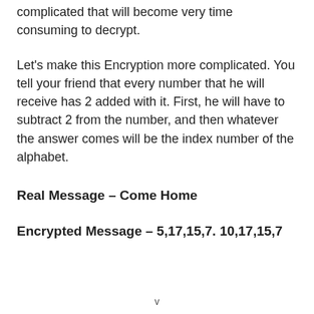complicated that will become very time consuming to decrypt.
Let's make this Encryption more complicated. You tell your friend that every number that he will receive has 2 added with it. First, he will have to subtract 2 from the number, and then whatever the answer comes will be the index number of the alphabet.
Real Message – Come Home
Encrypted Message – 5,17,15,7. 10,17,15,7
v